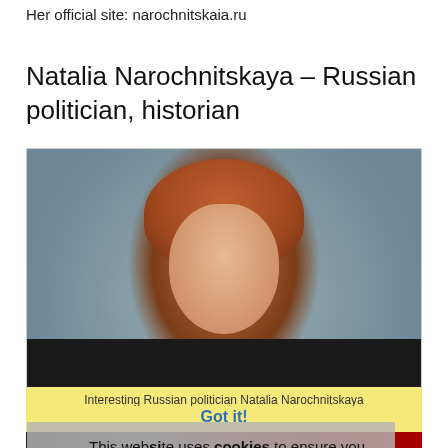Her official site: narochnitskaia.ru
Natalia Narochnitskaya – Russian politician, historian
[Figure (photo): Portrait photograph of Natalia Narochnitskaya, a woman with reddish-brown hair, wearing a dark coat, photographed outdoors with blurred background.]
This website uses cookies to ensure you get the best experience on our website.
Privacy Policy
Interesting Russian politician Natalia Narochnitskaya
Got it!
[Figure (photo): Partial bottom image strip showing a dark scene.]